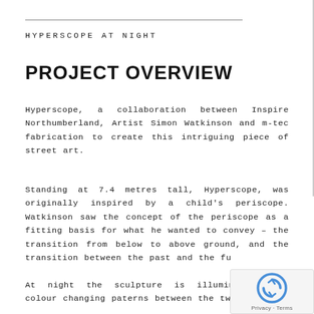HYPERSCOPE AT NIGHT
PROJECT OVERVIEW
Hyperscope, a collaboration between Inspire Northumberland, Artist Simon Watkinson and m-tec fabrication to create this intriguing piece of street art.
Standing at 7.4 metres tall, Hyperscope, was originally inspired by a child's periscope. Watkinson saw the concept of the periscope as a fitting basis for what he wanted to convey – the transition from below to above ground, and the transition between the past and the fu
At night the sculpture is illuminated with colour changing paterns between the two